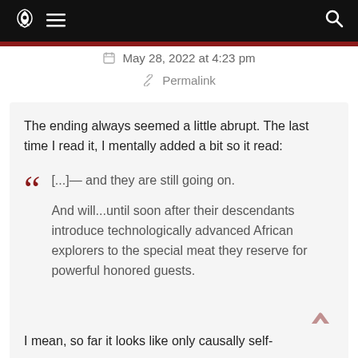Navigation bar with rocket logo, menu icon, and search icon
May 28, 2022 at 4:23 pm
Permalink
The ending always seemed a little abrupt. The last time I read it, I mentally added a bit so it read:
[...]— and they are still going on.

And will...until soon after their descendants introduce technologically advanced African explorers to the special meat they reserve for powerful honored guests.
I mean, so far it looks like only causally self-